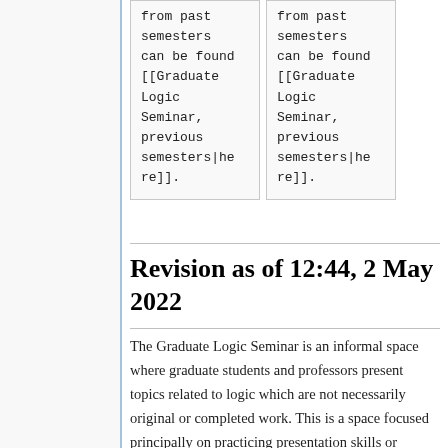| from past
semesters
can be found
[[Graduate
Logic
Seminar,
previous
semesters|he
re]]. | from past
semesters
can be found
[[Graduate
Logic
Seminar,
previous
semesters|he
re]]. |
Revision as of 12:44, 2 May 2022
The Graduate Logic Seminar is an informal space where graduate students and professors present topics related to logic which are not necessarily original or completed work. This is a space focused principally on practicing presentation skills or learning materials that are not usually presented in a class